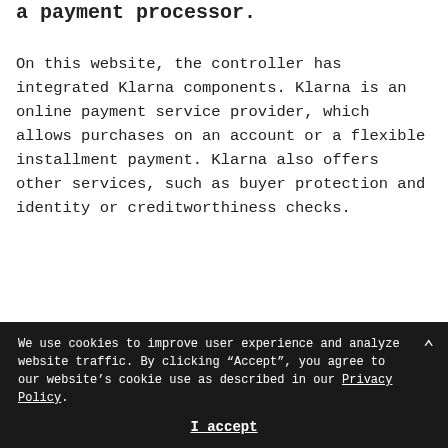a payment processor.
On this website, the controller has integrated Klarna components. Klarna is an online payment service provider, which allows purchases on an account or a flexible installment payment. Klarna also offers other services, such as buyer protection and identity or creditworthiness checks.
The operating company of Klarna is
We use cookies to improve user experience and analyze website traffic. By clicking "Accept", you agree to our website's cookie use as described in our Privacy Policy.
I accept